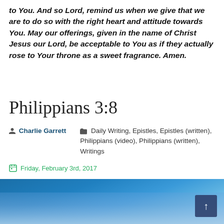to You. And so Lord, remind us when we give that we are to do so with the right heart and attitude towards You. May our offerings, given in the name of Christ Jesus our Lord, be acceptable to You as if they actually rose to Your throne as a sweet fragrance. Amen.
Philippians 3:8
Charlie Garrett   Daily Writing, Epistles, Epistles (written), Philippians (video), Philippians (written), Writings
Friday, February 3rd, 2017
[Figure (photo): Blue sky with clouds, used as article header image for Philippians 3:8]